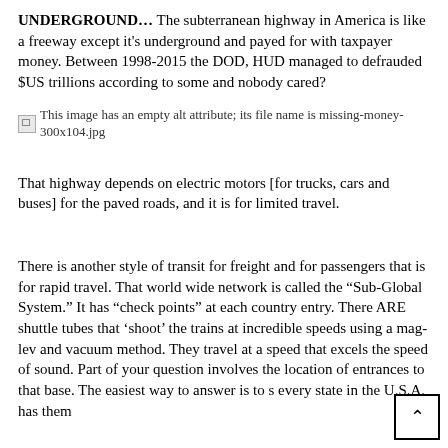UNDERGROUND… The subterranean highway in America is like a freeway except it's underground and payed for with taxpayer money. Between 1998-2015 the DOD, HUD managed to defrauded $US trillions according to some and nobody cared?
[Figure (other): Broken image placeholder with alt text: This image has an empty alt attribute; its file name is missing-money-300x104.jpg]
That highway depends on electric motors [for trucks, cars and buses] for the paved roads, and it is for limited travel.
There is another style of transit for freight and for passengers that is for rapid travel. That world wide network is called the “Sub-Global System.” It has “check points” at each country entry. There ARE shuttle tubes that ‘shoot’ the trains at incredible speeds using a mag-lev and vacuum method. They travel at a speed that excels the speed of sound. Part of your question involves the location of entrances to that base. The easiest way to answer is to s every state in the U.S.A. has them